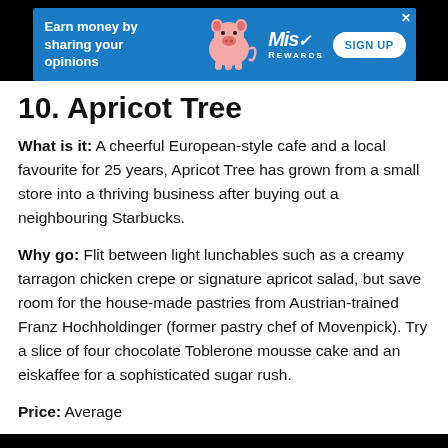[Figure (other): Advertisement banner with blue background showing a pig illustration, MissRewards logo, 'Earn money by sharing your opinions' text, and a SIGN UP button]
10. Apricot Tree
What is it: A cheerful European-style cafe and a local favourite for 25 years, Apricot Tree has grown from a small store into a thriving business after buying out a neighbouring Starbucks.
Why go: Flit between light lunchables such as a creamy tarragon chicken crepe or signature apricot salad, but save room for the house-made pastries from Austrian-trained Franz Hochholdinger (former pastry chef of Movenpick). Try a slice of four chocolate Toblerone mousse cake and an eiskaffee for a sophisticated sugar rush.
Price: Average